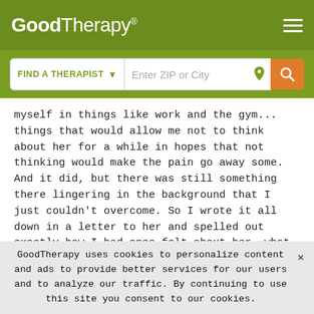GoodTherapy®
[Figure (screenshot): Search bar with 'FIND A THERAPIST' dropdown and 'Enter ZIP or City' input field with location icon and orange search button]
myself in things like work and the gym... things that would allow me not to think about her for a while in hopes that not thinking would make the pain go away some. And it did, but there was still something there lingering in the background that I just couldn't overcome. So I wrote it all down in a letter to her and spelled out exactly how I had once felt about her, what her actions had done to me and to us and how I now felt about her. It wasn't easy and there were a lot of tears shed that day. I never mailed the letter, it almost felt in the end that it was good enough that I let it all out that way. Now whenever I think of her there is a tinge of regret but mostly
GoodTherapy uses cookies to personalize content and ads × to provide better services for our users and to analyze our traffic. By continuing to use this site you consent to our cookies.